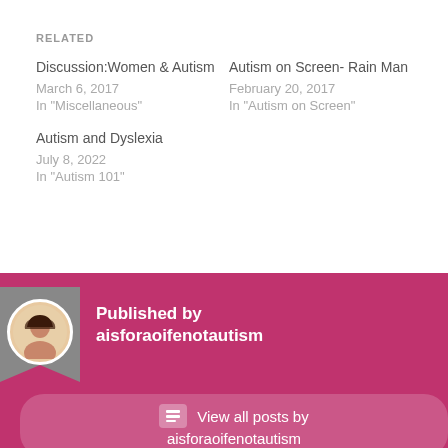RELATED
Discussion:Women & Autism
March 6, 2017
In "Miscellaneous"
Autism on Screen- Rain Man
February 20, 2017
In "Autism on Screen"
Autism and Dyslexia
July 8, 2022
In "Autism 101"
Published by aisforaoifenotautism
View all posts by aisforaoifenotautism